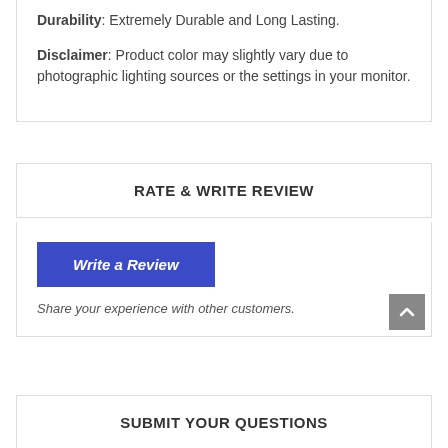Durability: Extremely Durable and Long Lasting.
Disclaimer: Product color may slightly vary due to photographic lighting sources or the settings in your monitor.
RATE & WRITE REVIEW
Write a Review
Share your experience with other customers.
SUBMIT YOUR QUESTIONS